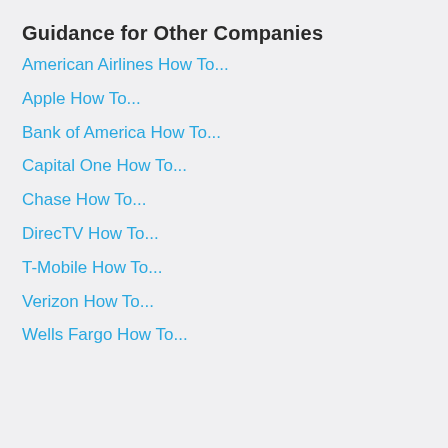Guidance for Other Companies
American Airlines How To...
Apple How To...
Bank of America How To...
Capital One How To...
Chase How To...
DirecTV How To...
T-Mobile How To...
Verizon How To...
Wells Fargo How To...